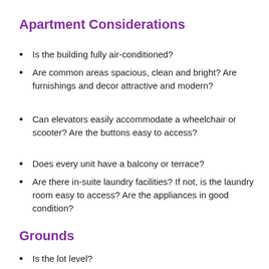Apartment Considerations
Is the building fully air-conditioned?
Are common areas spacious, clean and bright? Are furnishings and decor attractive and modern?
Can elevators easily accommodate a wheelchair or scooter? Are the buttons easy to access?
Does every unit have a balcony or terrace?
Are there in-suite laundry facilities? If not, is the laundry room easy to access? Are the appliances in good condition?
Grounds
Is the lot level?